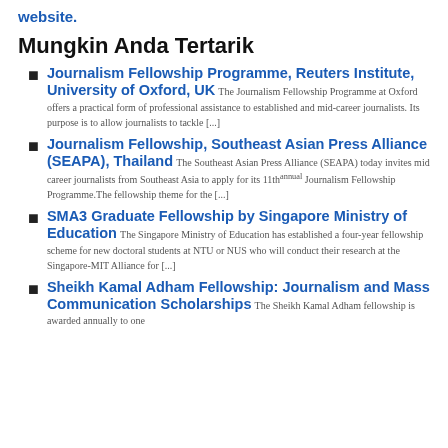website.
Mungkin Anda Tertarik
Journalism Fellowship Programme, Reuters Institute, University of Oxford, UK The Journalism Fellowship Programme at Oxford offers a practical form of professional assistance to established and mid-career journalists. Its purpose is to allow journalists to tackle [...]
Journalism Fellowship, Southeast Asian Press Alliance (SEAPA), Thailand The Southeast Asian Press Alliance (SEAPA) today invites mid career journalists from Southeast Asia to apply for its 11thannual Journalism Fellowship Programme.The fellowship theme for the [...]
SMA3 Graduate Fellowship by Singapore Ministry of Education The Singapore Ministry of Education has established a four-year fellowship scheme for new doctoral students at NTU or NUS who will conduct their research at the Singapore-MIT Alliance for [...]
Sheikh Kamal Adham Fellowship: Journalism and Mass Communication Scholarships The Sheikh Kamal Adham fellowship is awarded annually to one